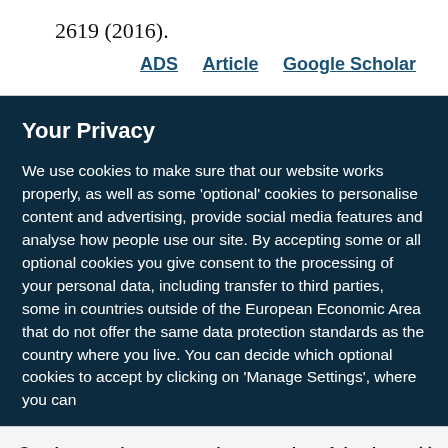2619 (2016).
ADS   Article   Google Scholar
Your Privacy
We use cookies to make sure that our website works properly, as well as some ‘optional’ cookies to personalise content and advertising, provide social media features and analyse how people use our site. By accepting some or all optional cookies you give consent to the processing of your personal data, including transfer to third parties, some in countries outside of the European Economic Area that do not offer the same data protection standards as the country where you live. You can decide which optional cookies to accept by clicking on ‘Manage Settings’, where you can
Get the most important science stories of the day, free in your inbox.
Sign up for Nature Briefing